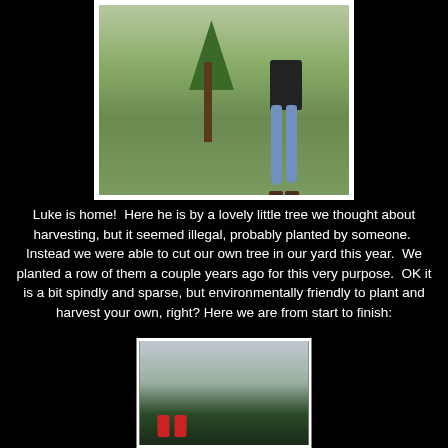[Figure (photo): A person standing next to a small young pine tree in a grassy field. The person is wearing jeans and dark shoes, with a dark shirt. The tree is at roughly chest height.]
Luke is home!  Here he is by a lovely little tree we thought about harvesting, but it seemed illegal, probably planted by someone.  Instead we were able to cut our own tree in our yard this year.  We planted a row of them a couple years ago for this very purpose.  OK it is a bit spindly and sparse, but environmentally friendly to plant and harvest your own, right?  Here we are from start to finish:
[Figure (photo): Two people in red clothing standing outdoors near trees and hedges, overcast sky in background. Appears to be the beginning of cutting down a Christmas tree.]